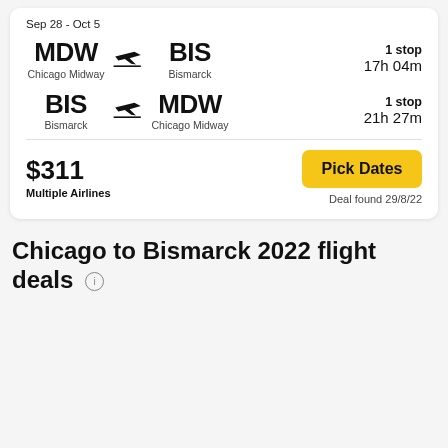Sep 28 - Oct 5
MDW → BIS
Chicago Midway → Bismarck
1 stop
17h 04m
BIS → MDW
Bismarck → Chicago Midway
1 stop
21h 27m
$311
Multiple Airlines
Pick Dates
Deal found 29/8/22
Chicago to Bismarck 2022 flight deals